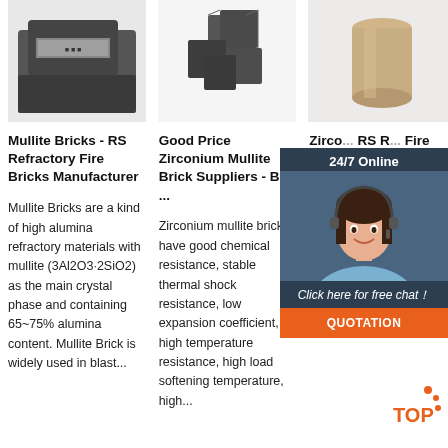[Figure (photo): Gray mullite refractory brick product photo]
[Figure (photo): Zirconium mullite brick cubes product photo]
[Figure (photo): Zircon fire brick cylindrical product photo]
Mullite Bricks - RS Refractory Fire Bricks Manufacturer
Good Price Zirconium Mullite Brick Suppliers - Buy ...
Zirco... RS R... Fire B... Manu...
Mullite Bricks are a kind of high alumina refractory materials with mullite (3Al2O3·2SiO2) as the main crystal phase and containing 65~75% alumina content. Mullite Brick is widely used in blast...
Zirconium mullite brick have good chemical resistance, stable thermal shock resistance, low expansion coefficient, high temperature resistance, high load softening temperature, high...
Zircon... kind of... refractory... are ma... with st... sand a... 64% zircon content.Zircon Brick belongs to acid refractory material with various properties of high...
[Figure (photo): 24/7 Online customer support chat widget with agent photo, free chat link, and QUOTATION button]